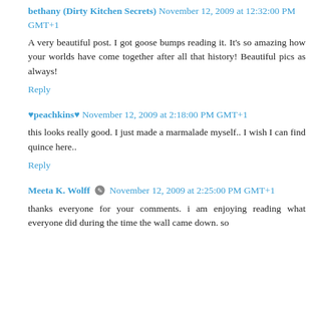bethany (Dirty Kitchen Secrets) November 12, 2009 at 12:32:00 PM GMT+1
A very beautiful post. I got goose bumps reading it. It's so amazing how your worlds have come together after all that history! Beautiful pics as always!
Reply
♥peachkins♥ November 12, 2009 at 2:18:00 PM GMT+1
this looks really good. I just made a marmalade myself.. I wish I can find quince here..
Reply
Meeta K. Wolff [edit icon] November 12, 2009 at 2:25:00 PM GMT+1
thanks everyone for your comments. i am enjoying reading what everyone did during the time the wall came down. so